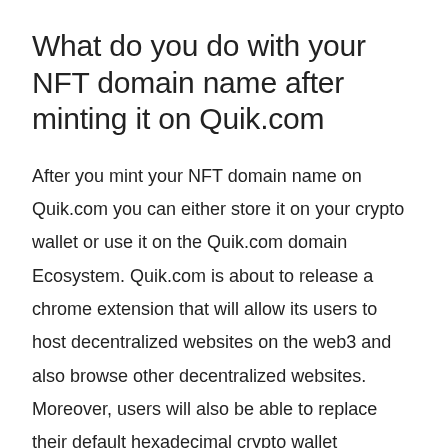What do you do with your NFT domain name after minting it on Quik.com
After you mint your NFT domain name on Quik.com you can either store it on your crypto wallet or use it on the Quik.com domain Ecosystem. Quik.com is about to release a chrome extension that will allow its users to host decentralized websites on the web3 and also browse other decentralized websites. Moreover, users will also be able to replace their default hexadecimal crypto wallet addresses with their